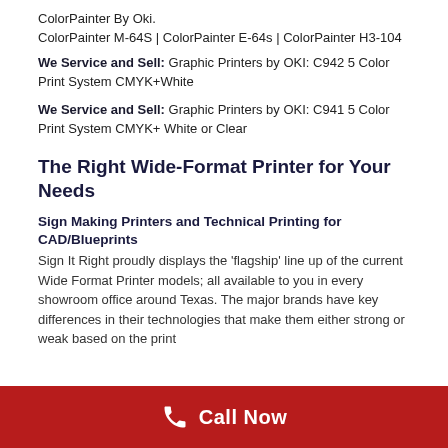ColorPainter By Oki.
ColorPainter M-64S | ColorPainter E-64s | ColorPainter H3-104
We Service and Sell: Graphic Printers by OKI: C942 5 Color Print System CMYK+White
We Service and Sell: Graphic Printers by OKI: C941 5 Color Print System CMYK+ White or Clear
The Right Wide-Format Printer for Your Needs
Sign Making Printers and Technical Printing for CAD/Blueprints
Sign It Right proudly displays the 'flagship' line up of the current Wide Format Printer models; all available to you in every showroom office around Texas. The major brands have key differences in their technologies that make them either strong or weak based on the print
Call Now